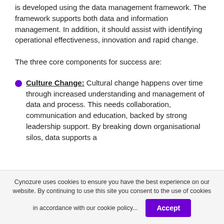is developed using the data management framework. The framework supports both data and information management. In addition, it should assist with identifying operational effectiveness, innovation and rapid change.
The three core components for success are:
Culture Change: Cultural change happens over time through increased understanding and management of data and process. This needs collaboration, communication and education, backed by strong leadership support. By breaking down organisational silos, data supports a
Cynozure uses cookies to ensure you have the best experience on our website. By continuing to use this site you consent to the use of cookies in accordance with our cookie policy...